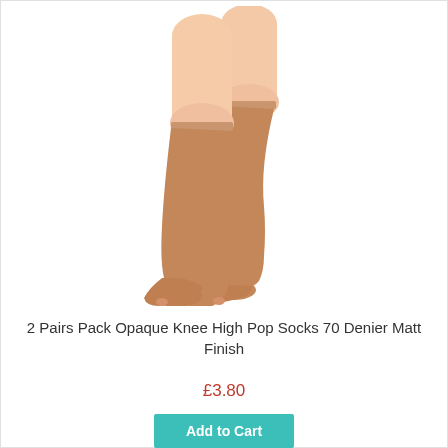[Figure (photo): Two legs wearing sheer tan/nude knee-high pop socks, one leg straight and one slightly raised, showing the knee-high length and the stocking finish at the top.]
2 Pairs Pack Opaque Knee High Pop Socks 70 Denier Matt Finish
£3.80
Add to Cart